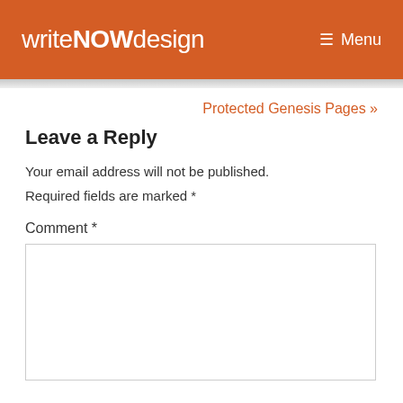writeNOWdesign   Menu
Protected Genesis Pages »
Leave a Reply
Your email address will not be published.
Required fields are marked *
Comment *